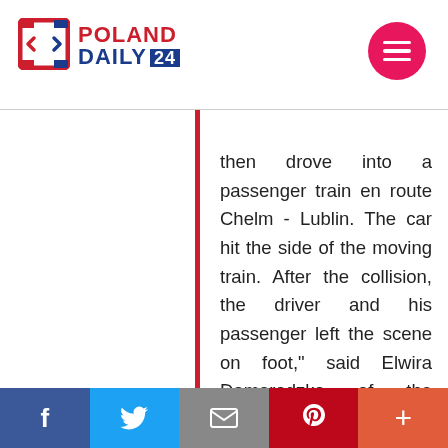Poland Daily 24
then drove into a passenger train en route Chelm - Lublin. The car hit the side of the moving train. After the collision, the driver and his passenger left the scene on foot," said Elwira Domaradzka of the Świdnik District Police Station.
f  Twitter  Email  Pinterest  +